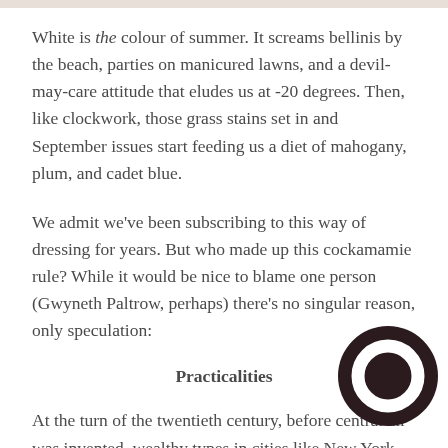White is the colour of summer. It screams bellinis by the beach, parties on manicured lawns, and a devil-may-care attitude that eludes us at -20 degrees. Then, like clockwork, those grass stains set in and September issues start feeding us a diet of mahogany, plum, and cadet blue.
We admit we've been subscribing to this way of dressing for years. But who made up this cockamamie rule? While it would be nice to blame one person (Gwyneth Paltrow, perhaps) there's no singular reason, only speculation:
Practicalities
At the turn of the twentieth century, before central air was invented, wealthy types in cities like New York wore because it absorbed less heat. In wet and windy aut those cream suits and long dresses would end up covered in
[Figure (logo): Dark circular logo with white ring/letter O shape]